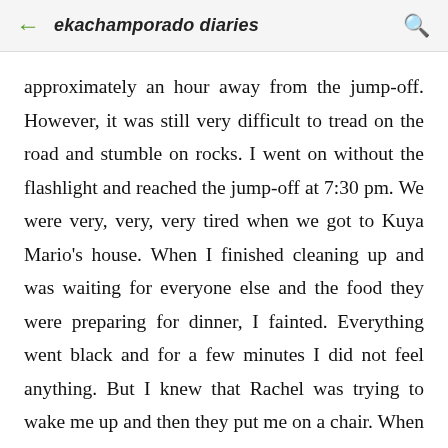ekachamporado diaries
approximately an hour away from the jump-off. However, it was still very difficult to tread on the road and stumble on rocks. I went on without the flashlight and reached the jump-off at 7:30 pm. We were very, very, very tired when we got to Kuya Mario's house. When I finished cleaning up and was waiting for everyone else and the food they were preparing for dinner, I fainted. Everything went black and for a few minutes I did not feel anything. But I knew that Rachel was trying to wake me up and then they put me on a chair. When I opened my eyes, my head still felt